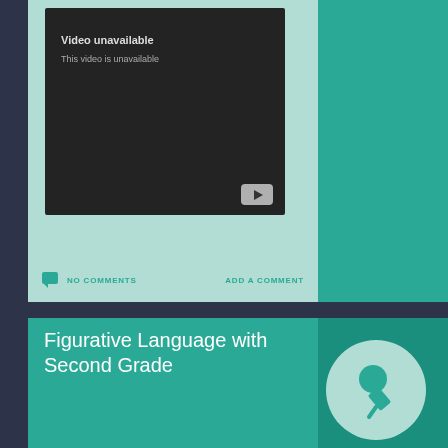[Figure (screenshot): YouTube video player showing 'Video unavailable' message with dark background and YouTube play button icon]
NO COMMENTS
ADD A COMMENT
Figurative Language with Second Grade
[Figure (illustration): Push pin icon inside a light teal circle on dark teal background]